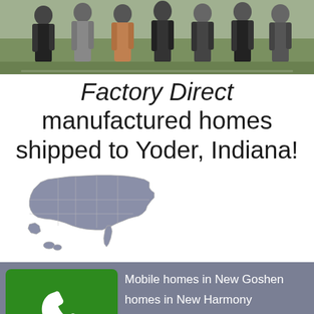[Figure (photo): Group photo of people standing together outdoors, partially cropped at top]
Factory Direct manufactured homes shipped to Yoder, Indiana!
[Figure (map): Gray silhouette map of the United States]
Mobile homes in New Goshen
homes in New Harmony
homes in New Haven
homes in New Lebanon
homes in New Lisbon